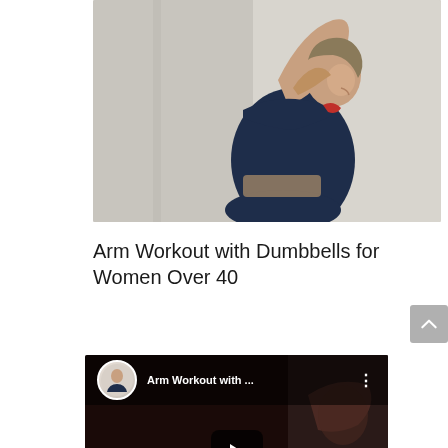[Figure (photo): A woman in a navy blue sports bra flexing her right arm and showing her bicep, photographed from behind/side angle, smiling over her shoulder against a light grey/white background.]
Arm Workout with Dumbbells for Women Over 40
[Figure (screenshot): A YouTube video thumbnail/player showing 'Arm Workout with ...' title in the top bar with a channel icon of a woman in workout clothes, three-dot menu icon, a YouTube play button in the center, and text 'SEXY' overlaid on a dark background with a woman exercising.]